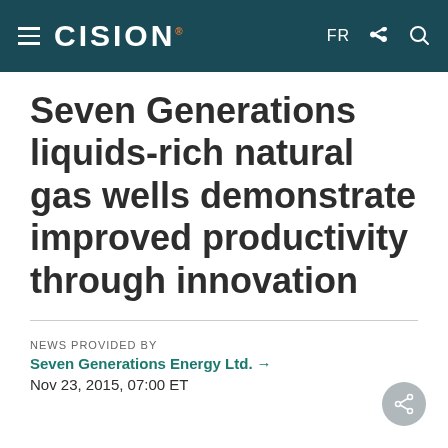CISION — FR
Seven Generations liquids-rich natural gas wells demonstrate improved productivity through innovation
NEWS PROVIDED BY
Seven Generations Energy Ltd. →
Nov 23, 2015, 07:00 ET